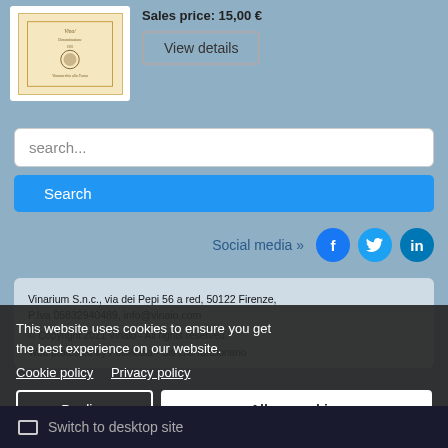[Figure (photo): Product image thumbnail showing a certificate or document with Italian text, on cream/yellow paper with decorative border]
Sales price: 15,00 €
View details
search...
Search
Social media »
Vinarium S.n.c., via dei Pepi 56 a red, 50122 Firenze, P.Iva 05832940489, info@vinaio.com
© Copyright 2021 Vinaio - All rights reserved.
Web protected by PoliMedia - Siti che funzionano
This website uses cookies to ensure you get the best experience on our website.
Cookie policy    Privacy policy
Decline
Allow cookies
Switch to desktop site